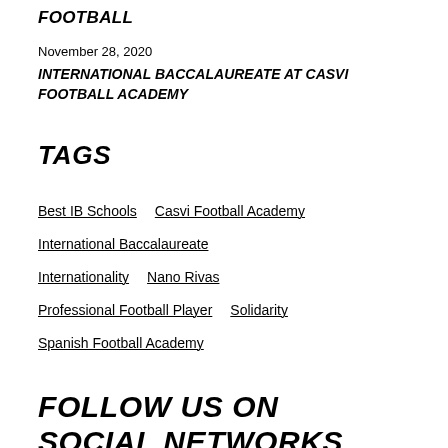FOOTBALL
November 28, 2020
INTERNATIONAL BACCALAUREATE AT CASVI FOOTBALL ACADEMY
TAGS
Best IB Schools   Casvi Football Academy
International Baccalaureate
Internationality   Nano Rivas
Professional Football Player   Solidarity
Spanish Football Academy
FOLLOW US ON SOCIAL NETWORKS